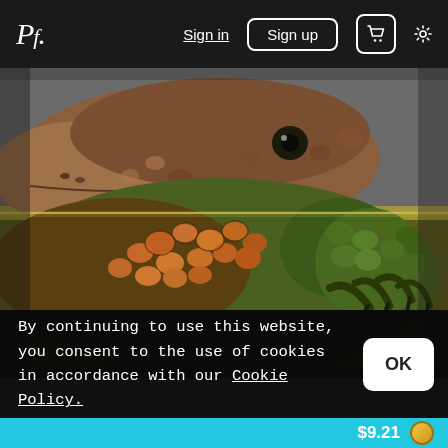Pf. | Sign in | Sign up | Cart | Settings
[Figure (photo): Close-up photograph of a lizard (monitor or tegu) at the water line, showing the head above water and the body submerged in yellowish-green water. The lizard has brown-orange scales on the head, orange and green scales on the body, and clawed feet visible. Split-level underwater and above-water shot.]
By continuing to use this website, you consent to the use of cookies in accordance with our Cookie Policy.
OK
$9.21